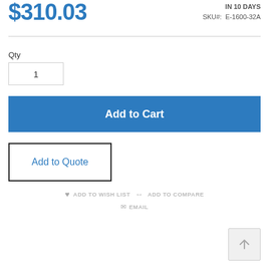$310.03
IN 10 DAYS
SKU#: E-1600-32A
Qty
1
Add to Cart
Add to Quote
ADD TO WISH LIST   ADD TO COMPARE   EMAIL